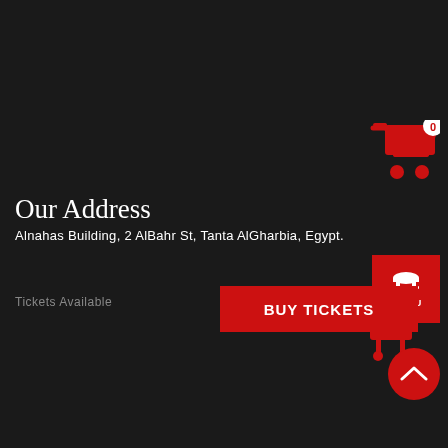[Figure (screenshot): Shopping cart icon in red with white badge showing '0']
[Figure (screenshot): Red menu button with dish/cloche icon and 'MENIU' label]
Our Address
Alnahas Building, 2 AlBahr St, Tanta AlGharbia, Egypt.
Tickets Available
[Figure (screenshot): BUY TICKETS red button]
[Figure (screenshot): Red circular scroll-up arrow button]